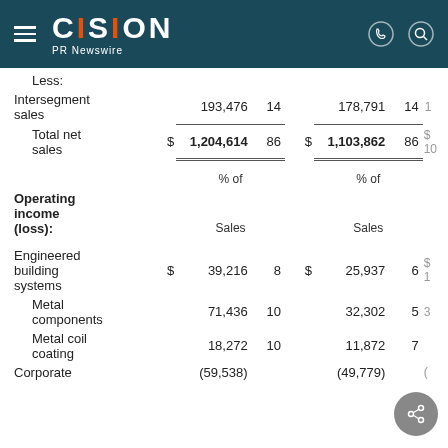CISION PR Newswire
|  | $ | Amount | % of |  | $ | Amount | % of |  |
| --- | --- | --- | --- | --- | --- | --- | --- | --- |
| Less: |  |  |  |  |  |  |  |  |
| Intersegment sales |  | 193,476 | 14 |  |  | 178,791 | 14 | 1 |
| Total net sales | $ | 1,204,614 | 86 | $ |  | 1,103,862 | 86 | $ 10 |
|  |  | % of |  |  |  | % of |  |  |
| Operating income (loss): |  | Sales |  |  |  | Sales |  |  |
| Engineered building systems | $ | 39,216 | 8 | $ |  | 25,937 | 6 | $ 1 |
| Metal components |  | 71,436 | 10 |  |  | 32,302 | 5 | 3 |
| Metal coil coating |  | 18,272 | 10 |  |  | 11,872 | 7 |  |
| Corporate |  | (59,538) |  |  |  | (49,779) |  | ( |